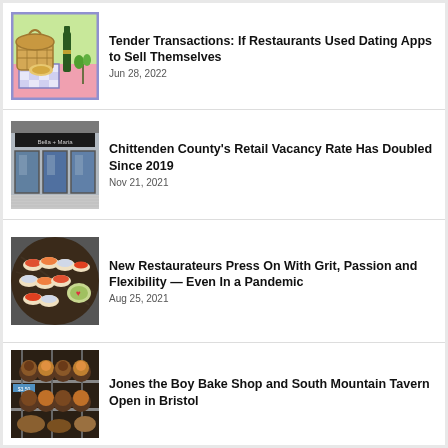[Figure (illustration): Cartoon illustration of a picnic scene with a wicker basket, wine bottle, bread, and checkered blanket on green grass with pink ground]
Tender Transactions: If Restaurants Used Dating Apps to Sell Themselves
Jun 28, 2022
[Figure (photo): Photo of a retail storefront with large glass windows, showing an empty or closed shop interior]
Chittenden County's Retail Vacancy Rate Has Doubled Since 2019
Nov 21, 2021
[Figure (photo): Photo of a sushi platter with assorted nigiri and rolls arranged on a dark round wooden board with dipping sauce]
New Restaurateurs Press On With Grit, Passion and Flexibility — Even In a Pandemic
Aug 25, 2021
[Figure (photo): Photo of baked goods on a rack at a bakery, showing muffins and other pastries with price tags]
Jones the Boy Bake Shop and South Mountain Tavern Open in Bristol